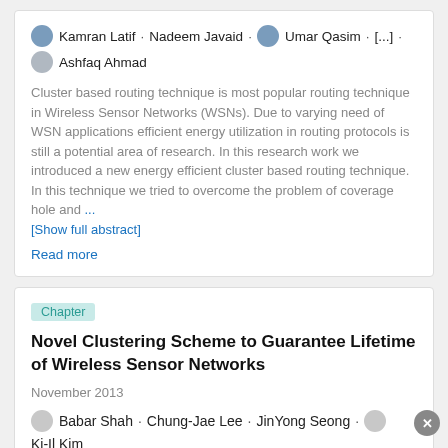Kamran Latif · Nadeem Javaid · Umar Qasim · [...] · Ashfaq Ahmad
Cluster based routing technique is most popular routing technique in Wireless Sensor Networks (WSNs). Due to varying need of WSN applications efficient energy utilization in routing protocols is still a potential area of research. In this research work we introduced a new energy efficient cluster based routing technique. In this technique we tried to overcome the problem of coverage hole and ... [Show full abstract]
Read more
Chapter
Novel Clustering Scheme to Guarantee Lifetime of Wireless Sensor Networks
November 2013
Babar Shah · Chung-Jae Lee · JinYong Seong · Ki-Il Kim
Advertisement